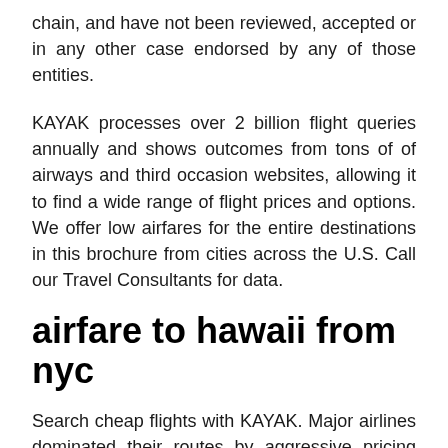chain, and have not been reviewed, accepted or in any other case endorsed by any of those entities.
KAYAK processes over 2 billion flight queries annually and shows outcomes from tons of of airways and third occasion websites, allowing it to find a wide range of flight prices and options. We offer low airfares for the entire destinations in this brochure from cities across the U.S. Call our Travel Consultants for data.
airfare to hawaii from nyc
Search cheap flights with KAYAK. Major airlines dominated their routes by aggressive pricing and additional capacity offerings, often swamping new